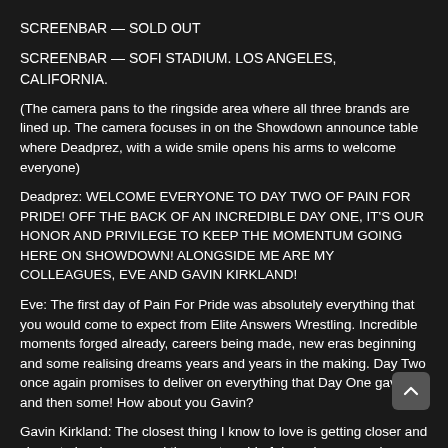SCREENBAR — SOLD OUT
SCREENBAR — SOFI STADIUM. LOS ANGELES, CALIFORNIA.
(The camera pans to the ringside area where all three brands are lined up. The camera focuses in on the Showdown announce table where Deadprez, with a wide smile opens his arms to welcome everyone)
Deadprez: WELCOME EVERYONE TO DAY TWO OF PAIN FOR PRIDE! OFF THE BACK OF AN INCREDIBLE DAY ONE, IT'S OUR HONOR AND PRIVILEGE TO KEEP THE MOMENTUM GOING HERE ON SHOWDOWN! ALONGSIDE ME ARE MY COLLEAGUES, EVE AND GAVIN KIRKLAND!
Eve: The first day of Pain For Pride was absolutely everything that you would come to expect from Elite Answers Wrestling. Incredible moments forged already, careers being made, new eras beginning and some realising dreams years and years in the making. Day Two once again promises to deliver on everything that Day One gave us and then some! How about you Gavin?
Gavin Kirkland: The closest thing I know to love is getting closer and closer to leaving me and the empty void of despair grows only more…
Deadprez: …right, BUT GUESS WHAT? WE'RE KICKING THINGS